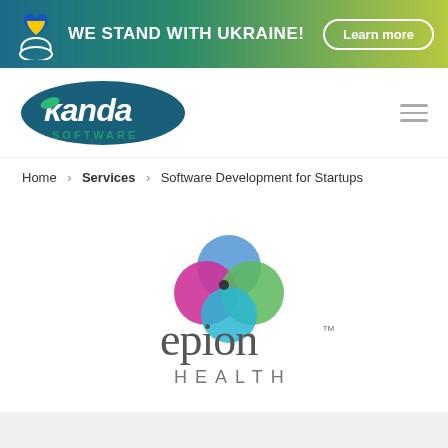WE STAND WITH UKRAINE! Learn more
[Figure (logo): Kanda Software logo — white italic 'kanda' text over dark teal ellipse, with 'SOFTWARE' in teal below]
Home > Services > Software Development for Startups
[Figure (logo): Epion Health logo — colorful overlapping circles (blue, magenta, green, cyan) above 'epion' in dark gray with trademark symbol, 'HEALTH' in spaced caps below]